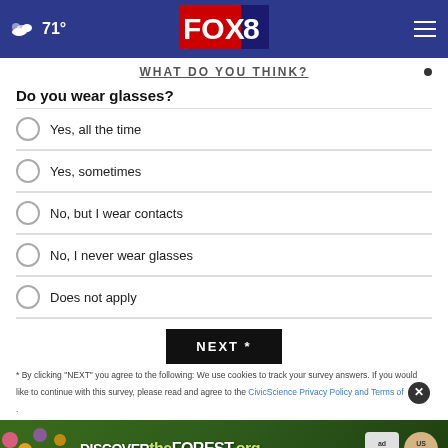FOX 8 — 71°
WHAT DO YOU THINK?
Do you wear glasses?
Yes, all the time
Yes, sometimes
No, but I wear contacts
No, I never wear glasses
Does not apply
NEXT *
* By clicking "NEXT" you agree to the following: We use cookies to track your survey answers. If you would like to continue with this survey, please read and agree to the CivicScience Privacy Policy and Terms of
[Figure (infographic): DISCOVERtheFOREST.org advertisement banner with colorful flowers and forest imagery, ad council and US Forest Service logos]